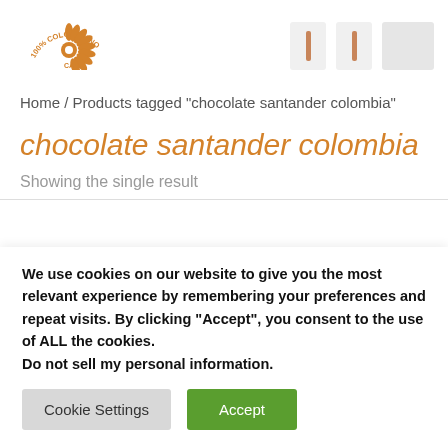[Figure (logo): 100% Colombiano circular logo with orange decorative design]
Home / Products tagged “chocolate santander colombia”
chocolate santander colombia
Showing the single result
We use cookies on our website to give you the most relevant experience by remembering your preferences and repeat visits. By clicking “Accept”, you consent to the use of ALL the cookies. Do not sell my personal information.
Cookie Settings | Accept